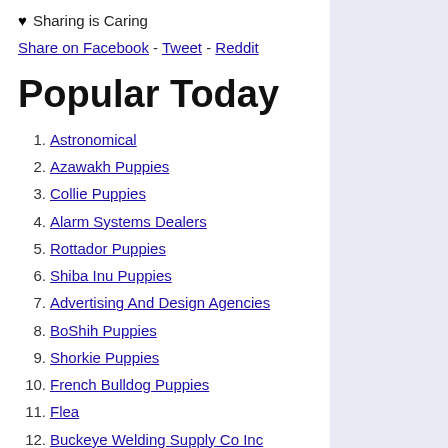♥ Sharing is Caring
Share on Facebook - Tweet - Reddit
Popular Today
1. Astronomical
2. Azawakh Puppies
3. Collie Puppies
4. Alarm Systems Dealers
5. Rottador Puppies
6. Shiba Inu Puppies
7. Advertising And Design Agencies
8. BoShih Puppies
9. Shorkie Puppies
10. French Bulldog Puppies
11. Flea
12. Buckeye Welding Supply Co Inc
13. Auto Body
14. Jack A Poo Puppies